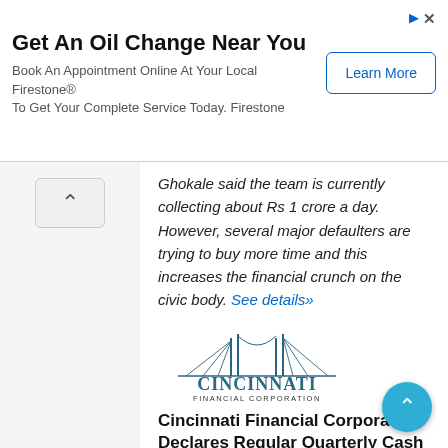[Figure (infographic): Advertisement banner: 'Get An Oil Change Near You' with Firestone branding and 'Learn More' button]
Ghokale said the team is currently collecting about Rs 1 crore a day. However, several major defaulters are trying to buy more time and this increases the financial crunch on the civic body. See details»
[Figure (logo): Cincinnati Financial Corporation logo with bridge illustration]
Cincinnati Financial Corporation Declares Regular Quarterly Cash Dividend
Source from : YAHOO!Finance - 2 days ago
Cincinnati Financial Corporation